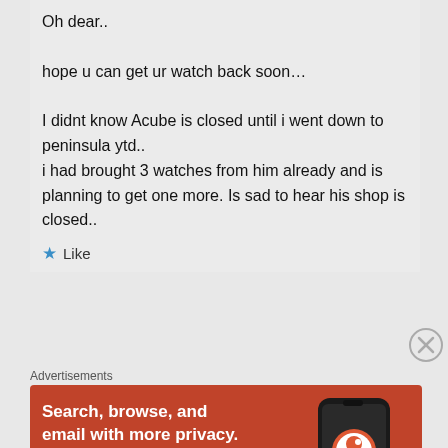Oh dear..
hope u can get ur watch back soon…

I didnt know Acube is closed until i went down to peninsula ytd..
i had brought 3 watches from him already and is planning to get one more. Is sad to hear his shop is closed..
★ Like
[Figure (screenshot): Close/dismiss button (circled X) in grey]
Advertisements
[Figure (screenshot): DuckDuckGo advertisement banner on orange-red background: 'Search, browse, and email with more privacy. All in One Free App' with DuckDuckGo logo and phone graphic.]